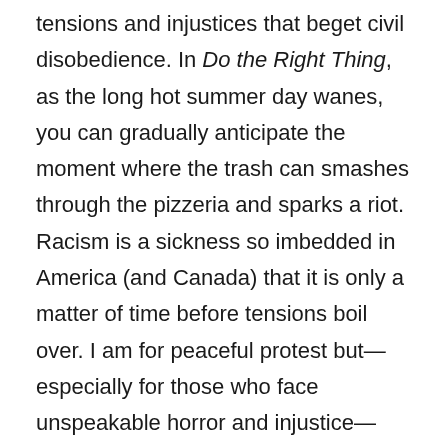tensions and injustices that beget civil disobedience. In Do the Right Thing, as the long hot summer day wanes, you can gradually anticipate the moment where the trash can smashes through the pizzeria and sparks a riot. Racism is a sickness so imbedded in America (and Canada) that it is only a matter of time before tensions boil over. I am for peaceful protest but— especially for those who face unspeakable horror and injustice— sometimes the only response that feels appropriate is a version of Malcolm X's “by any means necessary.”